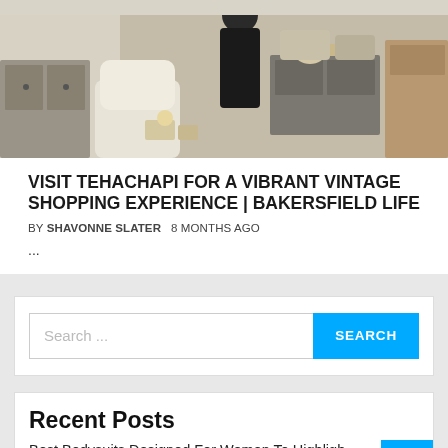[Figure (photo): Interior of a vintage/antique shop with furniture and a person standing among items including a white chair, dresser, pillows and wooden pieces.]
VISIT TEHACHAPI FOR A VIBRANT VINTAGE SHOPPING EXPERIENCE | BAKERSFIELD LIFE
BY SHAVONNE SLATER   8 MONTHS AGO
...
Search ...
Recent Posts
Best Bodysuits Designed For Women To Highlight Their Figure